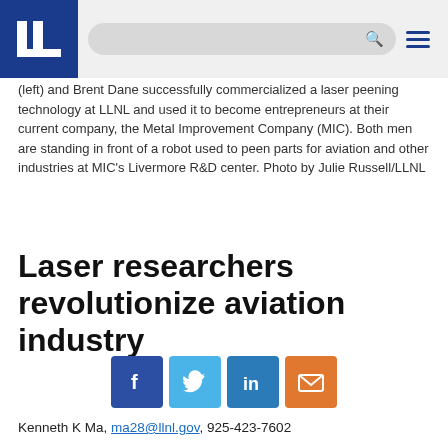LLNL website header with logo, search bar, and menu icon
(left) and Brent Dane successfully commercialized a laser peening technology at LLNL and used it to become entrepreneurs at their current company, the Metal Improvement Company (MIC). Both men are standing in front of a robot used to peen parts for aviation and other industries at MIC's Livermore R&D center. Photo by Julie Russell/LLNL
Laser researchers revolutionize aviation industry
[Figure (infographic): Social media share icons: Facebook, Twitter, LinkedIn, Email]
Kenneth K Ma, ma28@llnl.gov, 925-423-7602